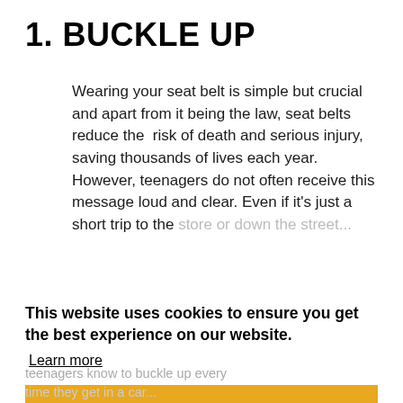1. BUCKLE UP
Wearing your seat belt is simple but crucial and apart from it being the law, seat belts reduce the risk of death and serious injury, saving thousands of lives each year. However, teenagers do not often receive this message loud and clear. Even if it's just a short trip to the ...
This website uses cookies to ensure you get the best experience on our website.
Learn more
I Consent
teenagers know to buckle up every ...